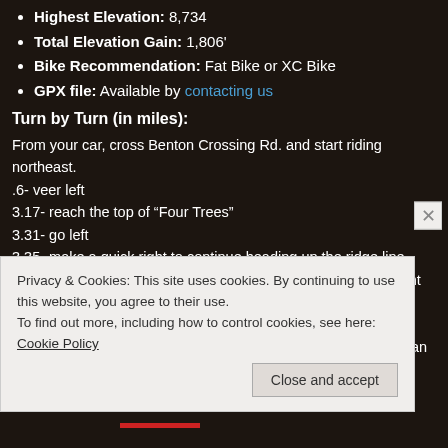Highest Elevation: 8,734
Total Elevation Gain: 1,806'
Bike Recommendation: Fat Bike or XC Bike
GPX file: Available by contacting us
Turn by Turn (in miles):
From your car, cross Benton Crossing Rd. and start riding northeast.
.6- veer left
3.17- reach the top of “Four Trees”
3.31- go left
3.35- make a quick right to continue heading up the ridge line (going straight will Watterson Troughs Rd. – don’t miss this right turn!)
3.94- reach the top of Knoll #1
4.55- stay straight up ridge for maximum punishment- or you can take the shortcu reconnect with the main trail shortly
4.65- reach the top of Knoll #2
4.94- stay straight up knoll for maximum punishment- or you can take the shortc
Privacy & Cookies: This site uses cookies. By continuing to use this website, you agree to their use. To find out more, including how to control cookies, see here: Cookie Policy